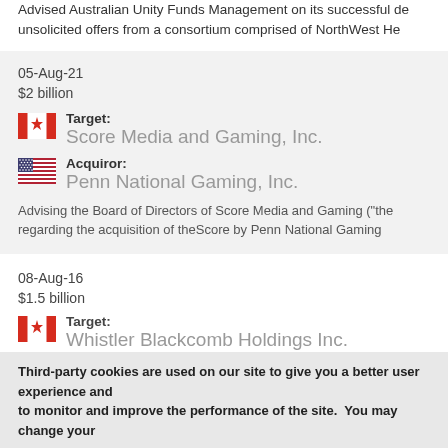Advised Australian Unity Funds Management on its successful defence of unsolicited offers from a consortium comprised of NorthWest He
05-Aug-21
$2 billion
Target: Score Media and Gaming, Inc.
Acquiror: Penn National Gaming, Inc.
Advising the Board of Directors of Score Media and Gaming ("the regarding the acquisition of theScore by Penn National Gaming
08-Aug-16
$1.5 billion
Target: Whistler Blackcomb Holdings Inc.
Third-party cookies are used on our site to give you a better user experience and to monitor and improve the performance of the site.  You may change your